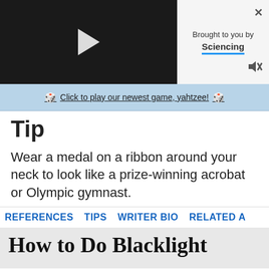[Figure (screenshot): Video player (black background with play button) and 'Brought to you by Sciencing' panel with close and mute icons]
Click to play our newest game, yahtzee!
Tip
Wear a medal on a ribbon around your neck to look like a prize-winning acrobat or Olympic gymnast.
REFERENCES   TIPS   WRITER BIO   RELATED A
How to Do Blacklight